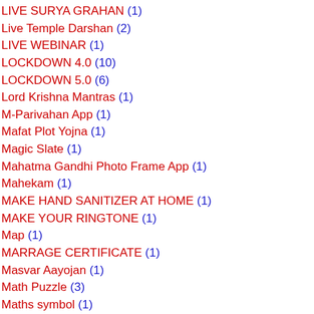LIVE SURYA GRAHAN (1)
Live Temple Darshan (2)
LIVE WEBINAR (1)
LOCKDOWN 4.0 (10)
LOCKDOWN 5.0 (6)
Lord Krishna Mantras (1)
M-Parivahan App (1)
Mafat Plot Yojna (1)
Magic Slate (1)
Mahatma Gandhi Photo Frame App (1)
Mahekam (1)
MAKE HAND SANITIZER AT HOME (1)
MAKE YOUR RINGTONE (1)
Map (1)
MARRAGE CERTIFICATE (1)
Masvar Aayojan (1)
Math Puzzle (3)
Maths symbol (1)
Maths Trick App (1)